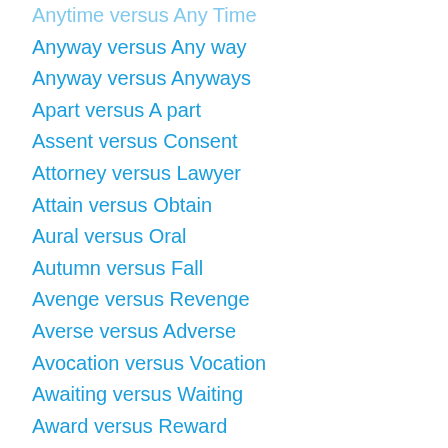Anytime versus Any Time
Anyway versus Any way
Anyway versus Anyways
Apart versus A part
Assent versus Consent
Attorney versus Lawyer
Attain versus Obtain
Aural versus Oral
Autumn versus Fall
Avenge versus Revenge
Averse versus Adverse
Avocation versus Vocation
Awaiting versus Waiting
Award versus Reward
Awhile versus A While